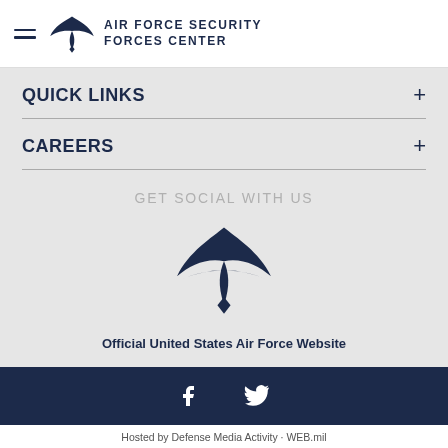AIR FORCE SECURITY FORCES CENTER
QUICK LINKS
CAREERS
GET SOCIAL WITH US
[Figure (logo): Air Force wings logo centered in social section]
Official United States Air Force Website
[Figure (infographic): Facebook and Twitter social media icons in dark navy footer bar]
Hosted by Defense Media Activity - WEB.mil